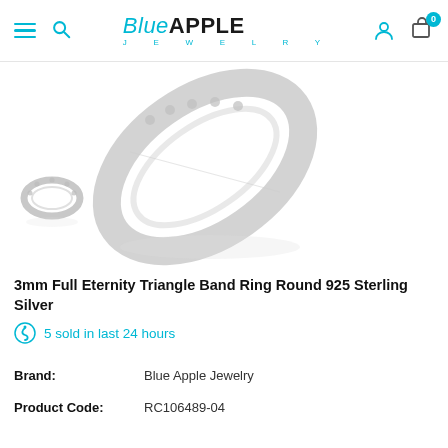Blue Apple Jewelry — navigation header with hamburger, search, logo, user and cart icons
[Figure (photo): Close-up photograph of a 3mm full eternity triangle band ring in 925 sterling silver, shown from an angled top view revealing the stone settings, with a smaller full-view thumbnail below it.]
3mm Full Eternity Triangle Band Ring Round 925 Sterling Silver
5 sold in last 24 hours
Brand:      Blue Apple Jewelry
Product Code:      RC106489-04